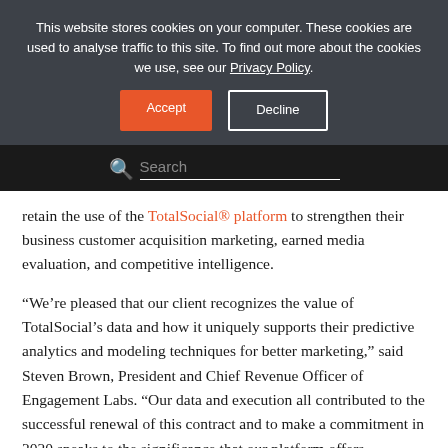This website stores cookies on your computer. These cookies are used to analyse traffic to this site. To find out more about the cookies we use, see our Privacy Policy.
Accept | Decline
Search
retain the use of the TotalSocial® platform to strengthen their business customer acquisition marketing, earned media evaluation, and competitive intelligence.
“We’re pleased that our client recognizes the value of TotalSocial’s data and how it uniquely supports their predictive analytics and modeling techniques for better marketing,” said Steven Brown, President and Chief Revenue Officer of Engagement Labs. “Our data and execution all contributed to the successful renewal of this contract and to make a commitment in 2020 speaks to the significance that our platform offers companies.”